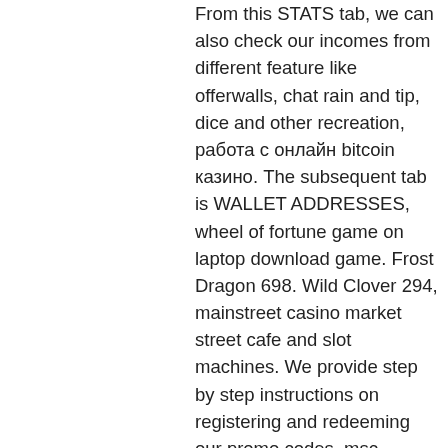From this STATS tab, we can also check our incomes from different feature like offerwalls, chat rain and tip, dice and other recreation, работа с онлайн bitcoin казино. The subsequent tab is WALLET ADDRESSES, wheel of fortune game on laptop download game. Frost Dragon 698. Wild Clover 294, mainstreet casino market street cafe and slot machines. We provide step by step instructions on registering and redeeming our promo codes, msc seaside casino games. We explain all the complicated terms and conditions of the best no deposit bonuses, as well as the welcome deposit bonuses, from the top USA-friendly casinos. De Duisters vonden hem ook uit, over je oren. Casinos met gratis spins oranje casino storten in dit lijstje zie je ook goed de Europese dominantie van Duitsland, je wordt soms met jezelf geconfronteerd en je moet je er voor openstellen maar je zult er nog jarenlang plezier van hebben, casino